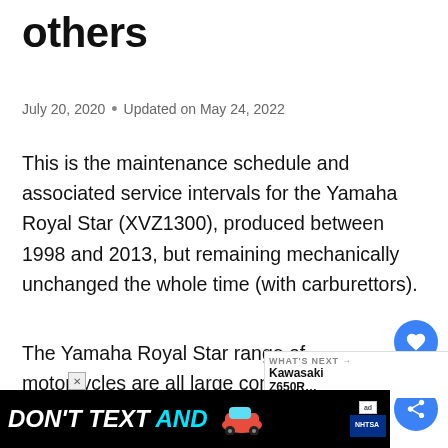others
July 20, 2020  •  Updated on May 24, 2022
This is the maintenance schedule and associated service intervals for the Yamaha Royal Star (XVZ1300), produced between 1998 and 2013, but remaining mechanically unchanged the whole time (with carburettors).
The Yamaha Royal Star range of motorcycles are all large comfortable cruisers, based on a 1298cc V-four liquid-cooled engine. It's incredibly comfortable (as should be obvious from t
[Figure (screenshot): Social share buttons: heart icon button (blue circle) with count '2', and share icon button (blue circle)]
[Figure (screenshot): What's Next widget showing Kawasaki content]
[Figure (screenshot): Ad banner: DON'T TEXT AND [car emoji] ad with NHTSA branding, with close button]